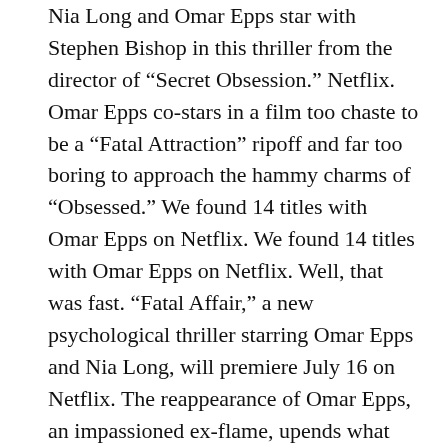Nia Long and Omar Epps star with Stephen Bishop in this thriller from the director of "Secret Obsession." Netflix. Omar Epps co-stars in a film too chaste to be a "Fatal Attraction" ripoff and far too boring to approach the hammy charms of "Obsessed." We found 14 titles with Omar Epps on Netflix. We found 14 titles with Omar Epps on Netflix. Well, that was fast. "Fatal Affair," a new psychological thriller starring Omar Epps and Nia Long, will premiere July 16 on Netflix. The reappearance of Omar Epps, an impassioned ex-flame, upends what she thought her answer was. With Nia Long, Omar Epps, Stephen Bishop, Aubrey Cleland. Netflix Netflix. Sobre Omar Epps. Fatal Affair Starring Nia Long + Omar Epps | Official Trailer | Netflix. Netflix is a registered trademark of Netflix, Inc. By Grant Hermanns. NetflixReleases Ã© um site nÃ£o-oficial para fÃ£s da Netflix. We found 14 titles with Omar Epps on Netflix. The best rated